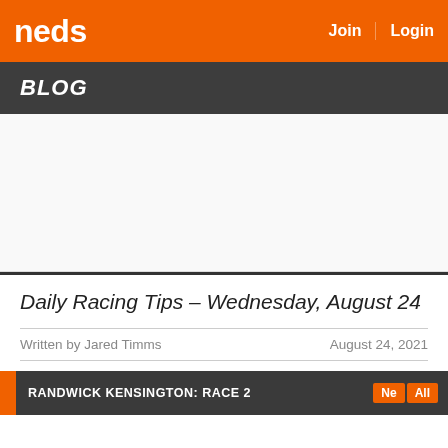neds | Join | Login
BLOG
[Figure (other): Advertisement placeholder area (white/light grey box)]
Daily Racing Tips – Wednesday, August 24
Written by Jared Timms   August 24, 2021
RANDWICK KENSINGTON: RACE 2   Next All